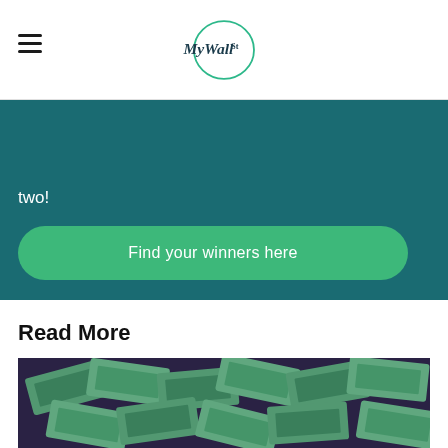MyWallSt
two!
Find your winners here
Read More
[Figure (photo): A pile of scattered US $100 dollar bills with a green tint overlay, suggesting wealth and stock market investing themes.]